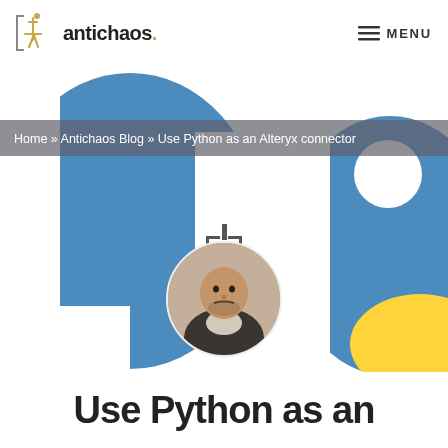antichaos. MENU
Home » Antichaos Blog » Use Python as an Alteryx connector
[Figure (illustration): Python programming language logo illustration (blue snake shapes on white background) with author circular portrait photo in the center]
Use Python as an